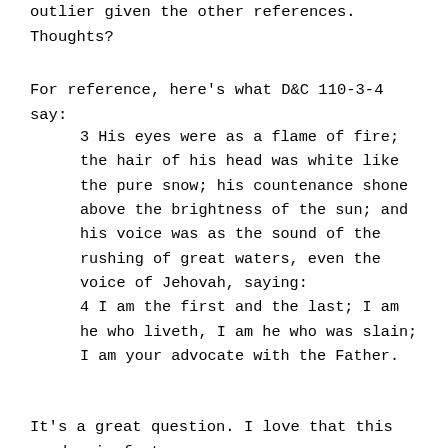outlier given the other references. Thoughts?
For reference, here's what D&C 110-3-4 say:
3 His eyes were as a flame of fire; the hair of his head was white like the pure snow; his countenance shone above the brightness of the sun; and his voice was as the sound of the rushing of great waters, even the voice of Jehovah, saying:
4 I am the first and the last; I am he who liveth, I am he who was slain; I am your advocate with the Father.
It's a great question. I love that this reader is fact